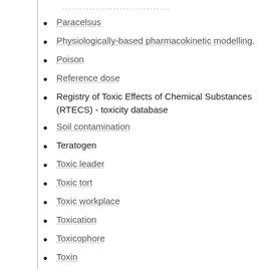Paracelsus
Physiologically-based pharmacokinetic modelling.
Poison
Reference dose
Registry of Toxic Effects of Chemical Substances (RTECS) - toxicity database
Soil contamination
Teratogen
Toxic leader
Toxic tort
Toxic workplace
Toxication
Toxicophore
Toxin
Toxica, a disambiguation page